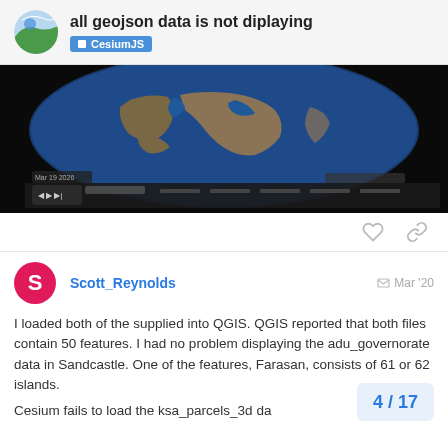all geojson data is not displaying — CesiumJS
[Figure (screenshot): Screenshot of CesiumJS globe viewer showing Middle East and Arabian Peninsula from space, with black background and timeline bar at bottom.]
Scott_Reynolds — Mar '20
I loaded both of the supplied into QGIS. QGIS reported that both files contain 50 features. I had no problem displaying the adu_governorate data in Sandcastle. One of the features, Farasan, consists of 61 or 62 islands.
Cesium fails to load the ksa_parcels_3d da
4 / 17